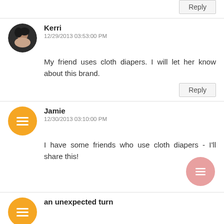Reply
Kerri
12/29/2013 03:53:00 PM
My friend uses cloth diapers. I will let her know about this brand.
Reply
Jamie
12/30/2013 03:10:00 PM
I have some friends who use cloth diapers - I'll share this!
an unexpected turn